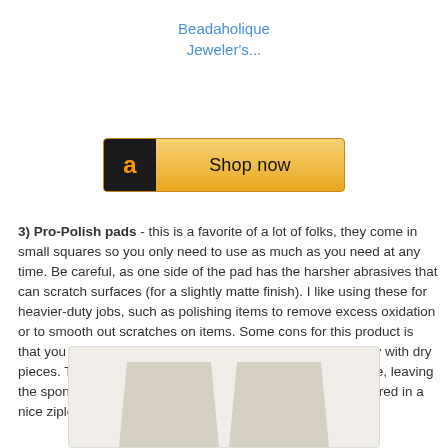Beadaholique Jeweler's...
[Figure (screenshot): Amazon 'Shop now' button with gold/yellow gradient background and Amazon 'a' logo icon on dark background]
3) Pro-Polish pads - this is a favorite of a lot of folks, they come in small squares so you only need to use as much as you need at any time. Be careful, as one side of the pad has the harsher abrasives that can scratch surfaces (for a slightly matte finish). I like using these for heavier-duty jobs, such as polishing items to remove excess oxidation or to smooth out scratches on items. Some cons for this product is that you *can not* get it wet or it turns into a goo, so use only with dry pieces. The other thing I noticed is that they dry out over time, leaving the spongy pads brittle and the abrasives powdery. Keep stored in a nice ziplock bag to help prevent dry outs.
[Figure (photo): Two light grey/beige Pro-Polish pad squares photographed against white background, trapezoidal shape]